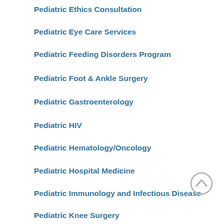Pediatric Ethics Consultation
Pediatric Eye Care Services
Pediatric Feeding Disorders Program
Pediatric Foot & Ankle Surgery
Pediatric Gastroenterology
Pediatric HIV
Pediatric Hematology/Oncology
Pediatric Hospital Medicine
Pediatric Immunology and Infectious Disease
Pediatric Knee Surgery